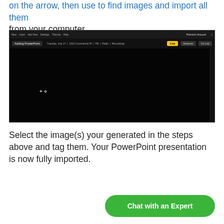on the arrow, then use to find images and import all them from your computer.
[Figure (screenshot): Screenshot of a dark-themed web application interface showing 'Adding PowerPoint' in the navigation bar with a toolbar containing menus, date, and buttons including a yellow 'Live' button. The main content area is mostly black/dark.]
Select the image(s) your generated in the steps above and tag them. Your PowerPoint presentation is now fully imported.
Chat with an Expert